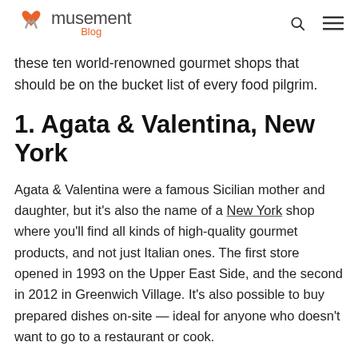musement Blog
these ten world-renowned gourmet shops that should be on the bucket list of every food pilgrim.
1. Agata & Valentina, New York
Agata & Valentina were a famous Sicilian mother and daughter, but it's also the name of a New York shop where you'll find all kinds of high-quality gourmet products, and not just Italian ones. The first store opened in 1993 on the Upper East Side, and the second in 2012 in Greenwich Village. It's also possible to buy prepared dishes on-site — ideal for anyone who doesn't want to go to a restaurant or cook.